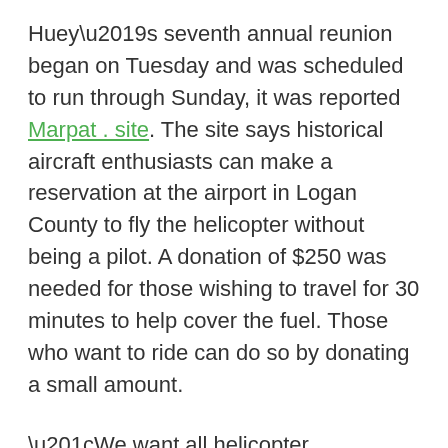Huey's seventh annual reunion began on Tuesday and was scheduled to run through Sunday, it was reported Marpat . site. The site says historical aircraft enthusiasts can make a reservation at the airport in Logan County to fly the helicopter without being a pilot. A donation of $250 was needed for those wishing to travel for 30 minutes to help cover the fuel. Those who want to ride can do so by donating a small amount.
“We want all helicopter enthusiasts (especially Huey) to have the opportunity to fly/ride in this historic helicopter,” the website says.
Porter told The Post that in addition to the Huey